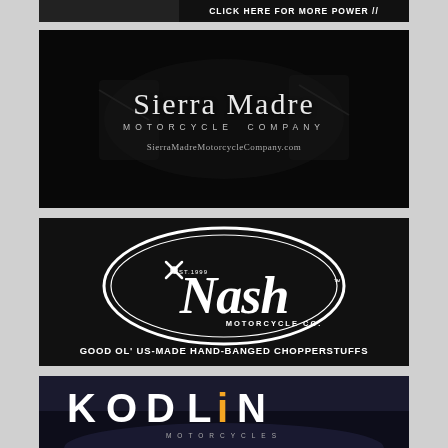[Figure (advertisement): Top partial banner ad with dark background and 'CLICK HERE FOR MORE POWER //' text in white bold caps on black background]
[Figure (advertisement): Sierra Madre Motorcycle Company advertisement. Dark/black background with motorcycle imagery. Large elegant serif text 'Sierra Madre' with 'MOTORCYCLE COMPANY' in spaced caps below, and website URL 'SierraMadreMotorcycleCompany.com' at bottom.]
[Figure (advertisement): Nash Motorcycle Co. advertisement on black background. White oval logo with script 'Nash' text, crossed wrenches, 'EST.1999', 'MOTORCYCLE CO.' Around logo. Tagline: 'GOOD OL' US-MADE HAND-BANGED CHOPPERSTUFFS']
[Figure (advertisement): Kodlin Motorcycles advertisement. Dark background with large bold white 'KODLIN' text where the 'I' is highlighted in yellow/orange, and 'MOTORCYCLES' in small spaced caps below. Motorcycle imagery visible at bottom.]